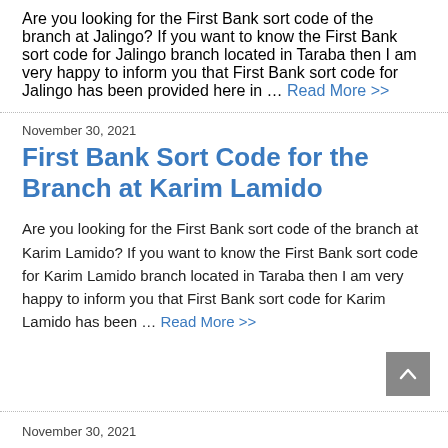Are you looking for the First Bank sort code of the branch at Jalingo? If you want to know the First Bank sort code for Jalingo branch located in Taraba then I am very happy to inform you that First Bank sort code for Jalingo has been provided here in … Read More >>
November 30, 2021
First Bank Sort Code for the Branch at Karim Lamido
Are you looking for the First Bank sort code of the branch at Karim Lamido? If you want to know the First Bank sort code for Karim Lamido branch located in Taraba then I am very happy to inform you that First Bank sort code for Karim Lamido has been … Read More >>
November 30, 2021